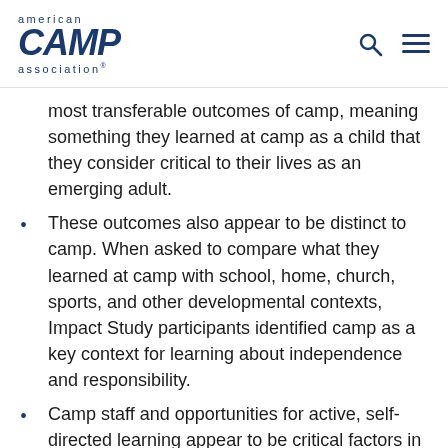american CAMP association
most transferable outcomes of camp, meaning something they learned at camp as a child that they consider critical to their lives as an emerging adult.
These outcomes also appear to be distinct to camp. When asked to compare what they learned at camp with school, home, church, sports, and other developmental contexts, Impact Study participants identified camp as a key context for learning about independence and responsibility.
Camp staff and opportunities for active, self-directed learning appear to be critical factors in helping campers develop independence and